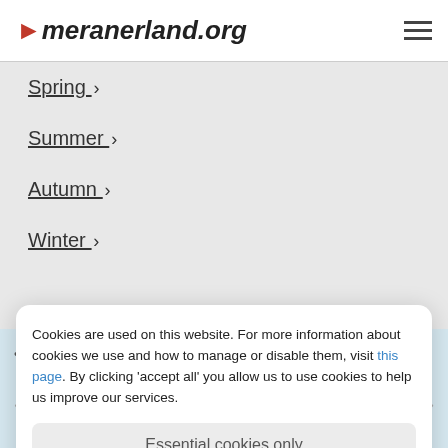meranerland.org
Spring >
Summer >
Autumn >
Winter >
Cookies are used on this website. For more information about cookies we use and how to manage or disable them, visit this page. By clicking 'accept all' you allow us to use cookies to help us improve our services.
Essential cookies only
Accept all
Leisure & activities
Hotel Gschwangut
Plunge into the holiday paradise